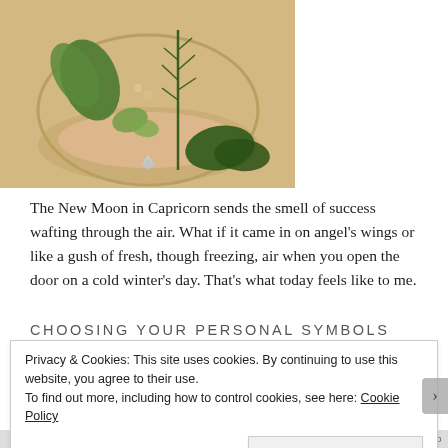[Figure (photo): A glass bowl filled with pink/brown sand and several fresh herbs including rosemary, sage, and other green plants, photographed from above on a wooden surface.]
The New Moon in Capricorn sends the smell of success wafting through the air. What if it came in on angel's wings or like a gush of fresh, though freezing, air when you open the door on a cold winter's day. That's what today feels like to me.
CHOOSING YOUR PERSONAL SYMBOLS FOR
Privacy & Cookies: This site uses cookies. By continuing to use this website, you agree to their use.
To find out more, including how to control cookies, see here: Cookie Policy
Close and accept